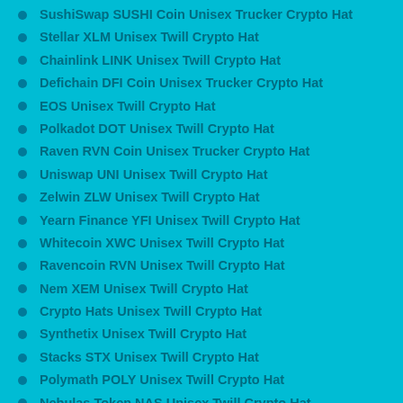SushiSwap SUSHI Coin Unisex Trucker Crypto Hat
Stellar XLM Unisex Twill Crypto Hat
Chainlink LINK Unisex Twill Crypto Hat
Defichain DFI Coin Unisex Trucker Crypto Hat
EOS Unisex Twill Crypto Hat
Polkadot DOT Unisex Twill Crypto Hat
Raven RVN Coin Unisex Trucker Crypto Hat
Uniswap UNI Unisex Twill Crypto Hat
Zelwin ZLW Unisex Twill Crypto Hat
Yearn Finance YFI Unisex Twill Crypto Hat
Whitecoin XWC Unisex Twill Crypto Hat
Ravencoin RVN Unisex Twill Crypto Hat
Nem XEM Unisex Twill Crypto Hat
Crypto Hats Unisex Twill Crypto Hat
Synthetix Unisex Twill Crypto Hat
Stacks STX Unisex Twill Crypto Hat
Polymath POLY Unisex Twill Crypto Hat
Nebulas Token NAS Unisex Twill Crypto Hat